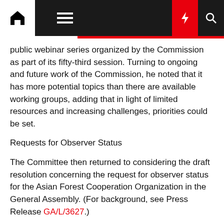Navigation bar with home, hamburger menu, moon, flash, and search icons
public webinar series organized by the Commission as part of its fifty-third session. Turning to ongoing and future work of the Commission, he noted that it has more potential topics than there are available working groups, adding that in light of limited resources and increasing challenges, priorities could be set.
Requests for Observer Status
The Committee then returned to considering the draft resolution concerning the request for observer status for the Asian Forest Cooperation Organization in the General Assembly. (For background, see Press Release GA/L/3627.)
The representative of Lao People's Democratic Republic reaffirmed that the Asian Forest